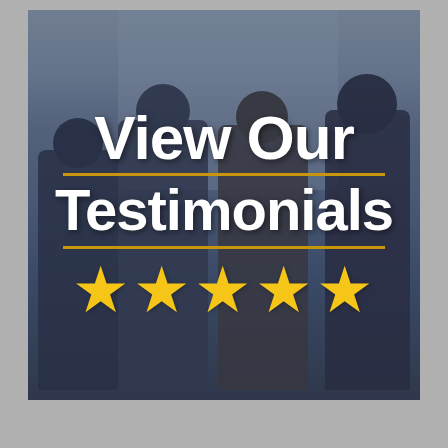[Figure (photo): Four people (three men and one woman) standing together smiling, photographed in an indoor setting with bright window light behind them. Overlaid with a semi-transparent dark blue panel containing white bold text 'View Our Testimonials' with gold horizontal lines, and five gold stars below.]